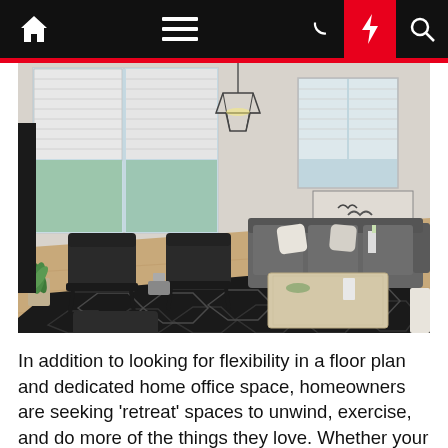Navigation bar with home, menu, moon, lightning, and search icons
[Figure (photo): Interior photo of a modern living room with light wood floors, a large dark geometric-patterned area rug, grey sectional sofa with white pillows, two dark accent chairs with an ottoman, a rectangular coffee table, tall windows with white blinds, a geometric pendant light fixture, wall art of birds in flight, and a potted plant in the corner.]
In addition to looking for flexibility in a floor plan and dedicated home office space, homeowners are seeking ‘retreat’ spaces to unwind, exercise, and do more of the things they love. Whether your chosen model of home offers an additional bedroom, basement level or bonus room, flex space is key. Functionality, practicality and aesthetics are also